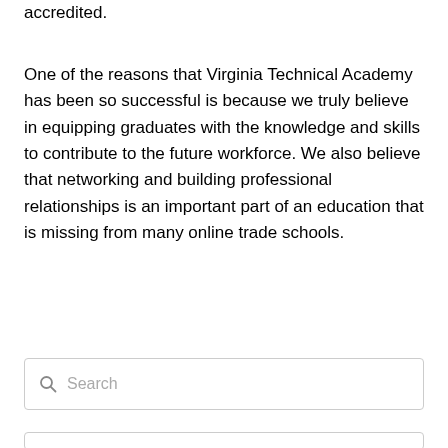accredited.
One of the reasons that Virginia Technical Academy has been so successful is because we truly believe in equipping graduates with the knowledge and skills to contribute to the future workforce. We also believe that networking and building professional relationships is an important part of an education that is missing from many online trade schools.